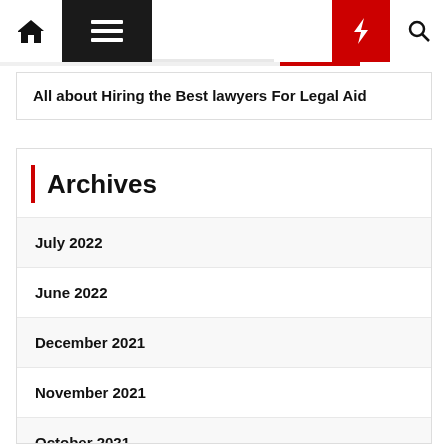Navigation bar with home, menu, moon, bolt, and search icons
All about Hiring the Best lawyers For Legal Aid
Archives
July 2022
June 2022
December 2021
November 2021
October 2021
September 2021